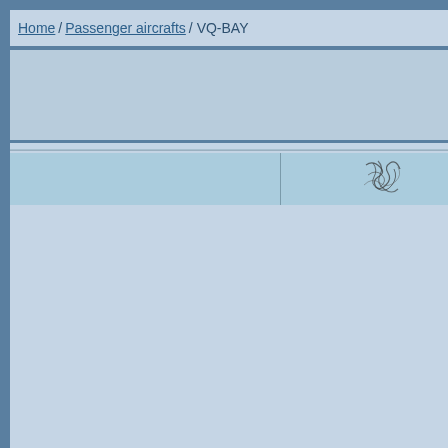Home / Passenger aircrafts / VQ-BAY
[Figure (screenshot): Advertisement banner area, partially visible, light blue/gray background]
[Figure (screenshot): Table row with column divider and a small scribble/handwriting image placeholder on the right side]